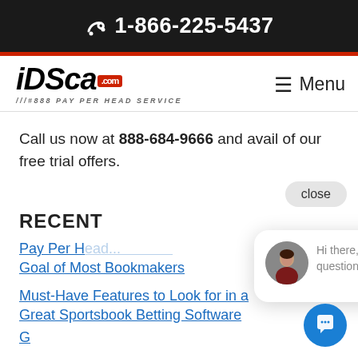1-866-225-5437
[Figure (logo): iDSca.com logo with tagline #888 PAY PER HEAD SERVICE and hamburger Menu button]
Call us now at 888-684-9666 and avail of our free trial offers.
RECENT
Hi there, have a question? Text us here.
Pay Per Head ... Goal of Most Bookmakers
Must-Have Features to Look for in a Great Sportsbook Betting Software
Good Online Sportsbook Business...